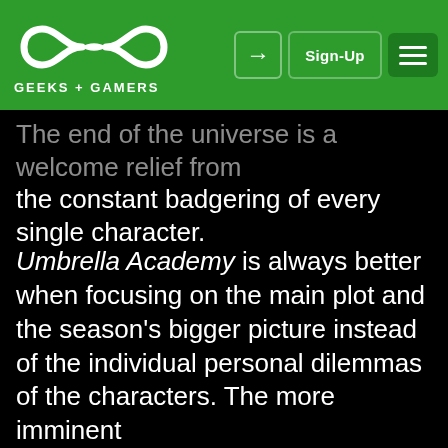GEEKS + GAMERS — Sign-Up
The end of the universe is a welcome relief from the constant badgering of every single character.
Umbrella Academy is always better when focusing on the main plot and the season's bigger picture instead of the individual personal dilemmas of the characters. The more imminent